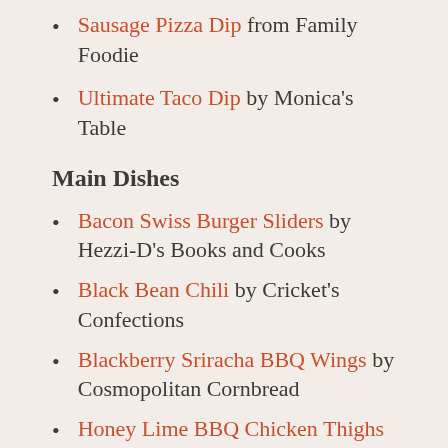Sausage Pizza Dip from Family Foodie
Ultimate Taco Dip by Monica's Table
Main Dishes
Bacon Swiss Burger Sliders by Hezzi-D's Books and Cooks
Black Bean Chili by Cricket's Confections
Blackberry Sriracha BBQ Wings by Cosmopolitan Cornbread
Honey Lime BBQ Chicken Thighs by Our Good Life